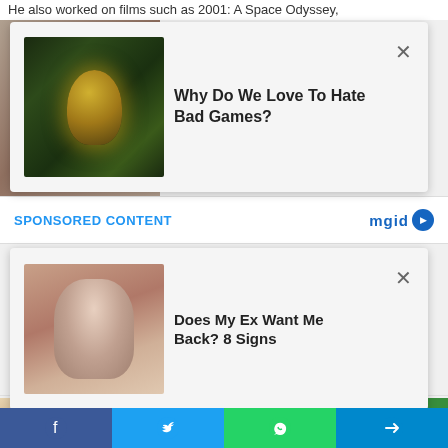He also worked on films such as 2001: A Space Odyssey,
[Figure (screenshot): Ad popup overlay: thumbnail of green-tinted video game character on left, ad title 'Why Do We Love To Hate Bad Games?' with X close button]
SPONSORED CONTENT
[Figure (logo): mgid logo with right-arrow icon]
[Figure (screenshot): Ad popup overlay: thumbnail of woman with camera on left, ad title 'Does My Ex Want Me Back? 8 Signs' with X close button]
Brainberries
Macaulay Culkin's Own Version Of The New Home Alone
[Figure (photo): Photo of an attractive Asian woman with dark hair and makeup]
10 Extremely Gorgeous Asian Actresses
Brainberries
[Figure (photo): Photo of a blonde woman with dramatic eye makeup]
8 Special Face Procedures To Look Younger Without Plastic
[Figure (screenshot): Social share bar with Facebook, Twitter, WhatsApp, and Telegram buttons at bottom]